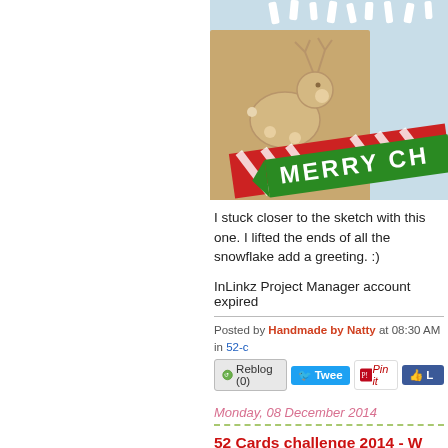[Figure (photo): Close-up photo of a handmade Christmas card showing a reindeer on kraft paper background with red and white diagonal stripes and a green banner reading 'MERRY CH...' (Christmas)]
I stuck closer to the sketch with this one. I lifted the ends of all the snowflake add a greeting. :)
InLinkz Project Manager account expired
Posted by Handmade by Natty at 08:30 AM in 52-c
Reblog (0)   Tweet   Pin it   L
Monday, 08 December 2014
52 Cards challenge 2014 - W